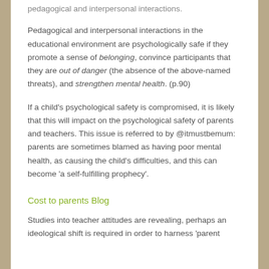pedagogical and interpersonal interactions.
Pedagogical and interpersonal interactions in the educational environment are psychologically safe if they promote a sense of belonging, convince participants that they are out of danger (the absence of the above-named threats), and strengthen mental health. (p.90)
If a child’s psychological safety is compromised, it is likely that this will impact on the psychological safety of parents and teachers. This issue is referred to by @itmustbemum: parents are sometimes blamed as having poor mental health, as causing the child’s difficulties, and this can become ‘a self-fulfilling prophecy’.
Cost to parents Blog
Studies into teacher attitudes are revealing, perhaps an ideological shift is required in order to harness ‘parent